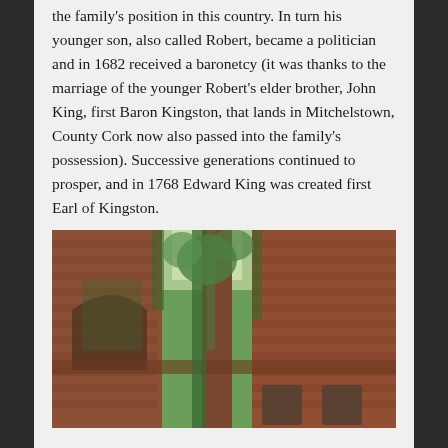the family's position in this country. In turn his younger son, also called Robert, became a politician and in 1682 received a baronetcy (it was thanks to the marriage of the younger Robert's elder brother, John King, first Baron Kingston, that lands in Mitchelstown, County Cork now also passed into the family's possession). Successive generations continued to prosper, and in 1768 Edward King was created first Earl of Kingston.
[Figure (photo): Photograph of ivy-covered ruins of an old brick building, with crumbling red brick walls, arched openings, and vegetation growing through and over the structure.]